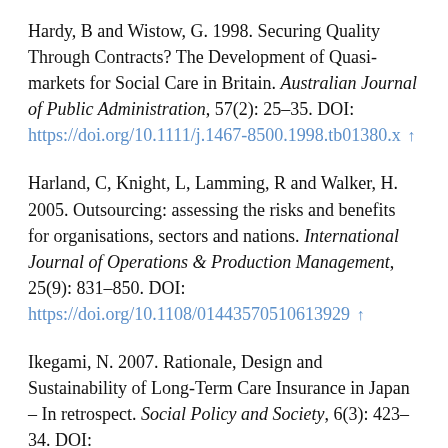Hardy, B and Wistow, G. 1998. Securing Quality Through Contracts? The Development of Quasi-markets for Social Care in Britain. Australian Journal of Public Administration, 57(2): 25–35. DOI: https://doi.org/10.1111/j.1467-8500.1998.tb01380.x ↑
Harland, C, Knight, L, Lamming, R and Walker, H. 2005. Outsourcing: assessing the risks and benefits for organisations, sectors and nations. International Journal of Operations & Production Management, 25(9): 831–850. DOI: https://doi.org/10.1108/01443570510613929 ↑
Ikegami, N. 2007. Rationale, Design and Sustainability of Long-Term Care Insurance in Japan – In retrospect. Social Policy and Society, 6(3): 423–34. DOI: